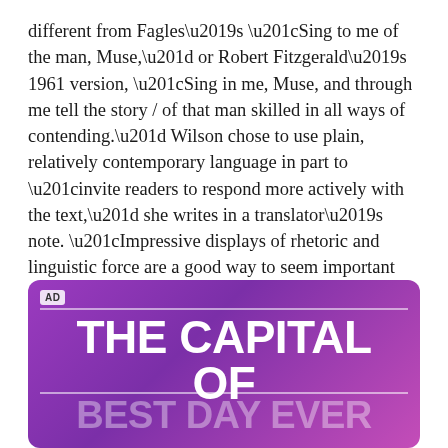different from Fagles's “Sing to me of the man, Muse,” or Robert Fitzgerald’s 1961 version, “Sing in me, Muse, and through me tell the story / of that man skilled in all ways of contending.” Wilson chose to use plain, relatively contemporary language in part to “invite readers to respond more actively with the text,” she writes in a translator’s note. “Impressive displays of rhetoric and linguistic force are a good way to seem important and invite a particular kind of admiration, but they tend to silence dissent and discourage deeper modes of engagement.”
[Figure (infographic): Advertisement banner with purple gradient background. AD label in top left. White horizontal lines above and below main text. Large bold white text reading 'THE CAPITAL OF' and partially visible text below reading 'BEST DAY EVER' or similar.]